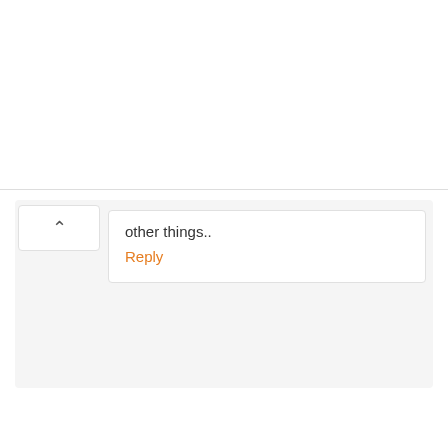[Figure (screenshot): Advertisement banner with HC logo (yellow square with black HC text), text 'View store hours, get directions, or call your salon!', and blue diamond navigation icon on the right.]
other things..
Reply